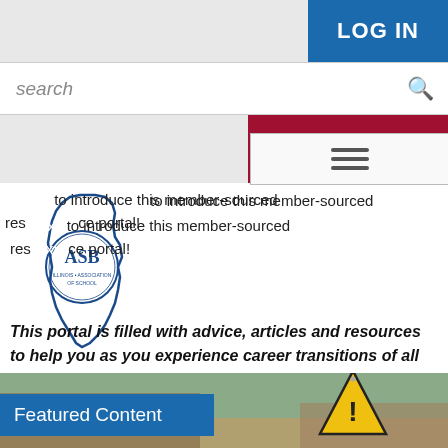LOG IN
search
JOIN/RENEW
[Figure (logo): Illinois state outline with ASB organization seal/logo inside]
ex... to introduce this member-sourced resource portal!
This portal is filled with advice, articles and resources to help you as you experience career transitions of all kinds.
Featured Content